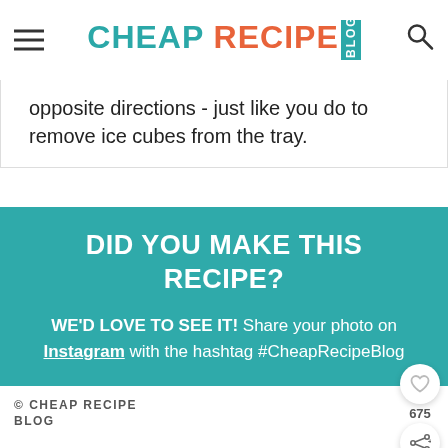CHEAP RECIPE BLOG
opposite directions - just like you do to remove ice cubes from the tray.
DID YOU MAKE THIS RECIPE? WE'D LOVE TO SEE IT! Share your photo on Instagram with the hashtag #CheapRecipeBlog
© CHEAP RECIPE BLOG